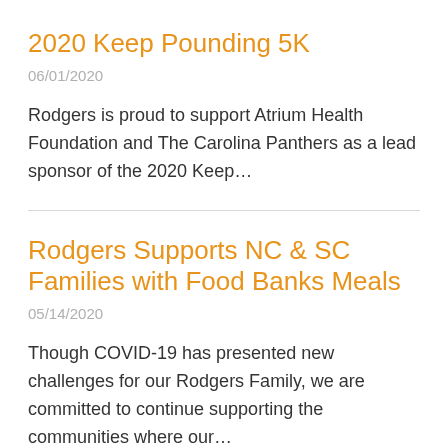2020 Keep Pounding 5K
06/01/2020
Rodgers is proud to support Atrium Health Foundation and The Carolina Panthers as a lead sponsor of the 2020 Keep…
Rodgers Supports NC & SC Families with Food Banks Meals
05/14/2020
Though COVID-19 has presented new challenges for our Rodgers Family, we are committed to continue supporting the communities where our…